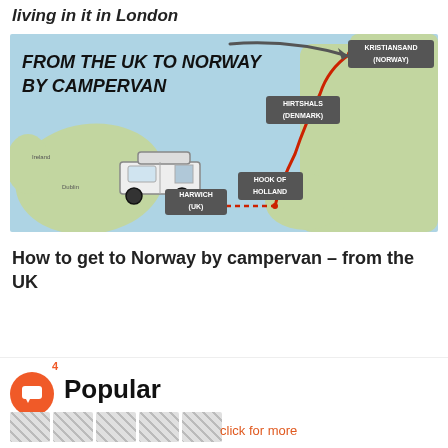living in it in London
[Figure (map): Infographic map showing route from the UK to Norway by campervan, with locations Harwich (UK), Hook of Holland, Hirtshals (Denmark), and Kristiansand (Norway) marked, with a red route line and a campervan illustration]
How to get to Norway by campervan – from the UK
4
Popular
click for more